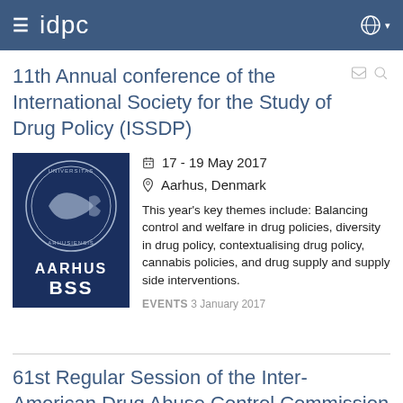idpc
11th Annual conference of the International Society for the Study of Drug Policy (ISSDP)
[Figure (logo): Aarhus University BSS logo — dark blue background with circular seal and text AARHUS BSS]
17 - 19 May 2017
Aarhus, Denmark
This year's key themes include: Balancing control and welfare in drug policies, diversity in drug policy, contextualising drug policy, cannabis policies, and drug supply and supply side interventions.
EVENTS 3 January 2017
61st Regular Session of the Inter-American Drug Abuse Control Commission (CICAD)